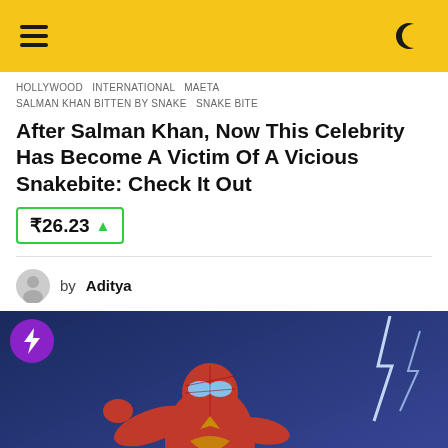☰ [menu] [moon icon]
HOLLYWOOD  INTERNATIONAL  MAETA  SALMAN KHAN BITTEN BY SNAKE  SNAKE BITE
After Salman Khan, Now This Celebrity Has Become A Victim Of A Vicious Snakebite: Check It Out
₹26.23 ▲
by Aditya
[Figure (photo): Spider-Man in red and gold Iron Spider suit crouching with arm extended, with lightning in the background. Purple circle badge with lightning bolt in top left corner. Yellow scroll-to-top button in bottom right corner.]